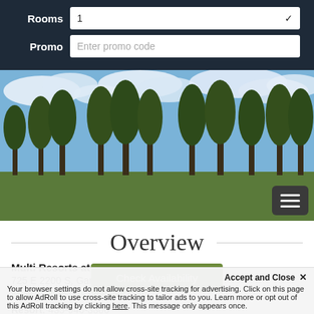[Figure (screenshot): Hotel booking form panel with dark background showing Rooms dropdown set to 1 and Promo code input field]
[Figure (photo): Outdoor landscape photo with blue sky, clouds, and tall pine trees on a green lawn with a green banner bar at the bottom containing a hamburger menu icon]
[Figure (infographic): Green Check Availability button overlaid on the landscape photo]
Overview
Multi Resorts at Bear Lake
725 E 2200 S, Garden City, UT 84028
www.multiresorts bearlake.com
Resort: 435-946-3306
Reservations: 435-946-3306
Your browser settings do not allow cross-site tracking for advertising. Click on this page to allow AdRoll to use cross-site tracking to tailor ads to you. Learn more or opt out of this AdRoll tracking by clicking here. This message only appears once.